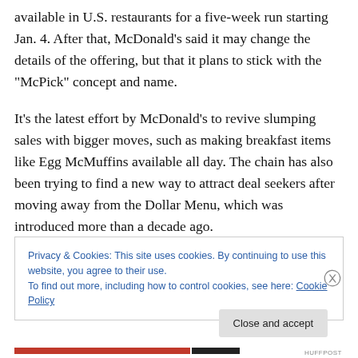available in U.S. restaurants for a five-week run starting Jan. 4. After that, McDonald's said it may change the details of the offering, but that it plans to stick with the “McPick” concept and name.

It’s the latest effort by McDonald’s to revive slumping sales with bigger moves, such as making breakfast items like Egg McMuffins available all day. The chain has also been trying to find a new way to attract deal seekers after moving away from the Dollar Menu, which was introduced more than a decade ago.
Privacy & Cookies: This site uses cookies. By continuing to use this website, you agree to their use.
To find out more, including how to control cookies, see here: Cookie Policy